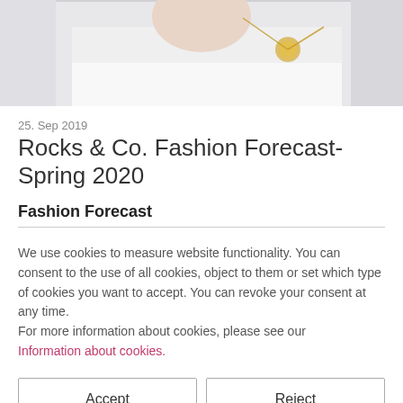[Figure (photo): Photo of a person wearing a white top and a gold pendant necklace, cropped to show neck and upper chest area against a light background.]
25. Sep 2019
Rocks & Co. Fashion Forecast-Spring 2020
Fashion Forecast
We use cookies to measure website functionality. You can consent to the use of all cookies, object to them or set which type of cookies you want to accept. You can revoke your consent at any time.
For more information about cookies, please see our
Information about cookies.
Accept
Reject
Edit